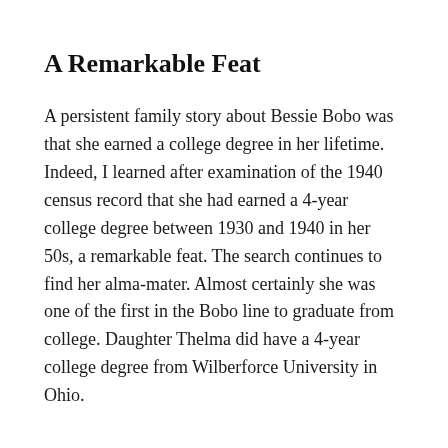A Remarkable Feat
A persistent family story about Bessie Bobo was that she earned a college degree in her lifetime. Indeed, I learned after examination of the 1940 census record that she had earned a 4-year college degree between 1930 and 1940 in her 50s, a remarkable feat. The search continues to find her alma-mater. Almost certainly she was one of the first in the Bobo line to graduate from college. Daughter Thelma did have a 4-year college degree from Wilberforce University in Ohio.